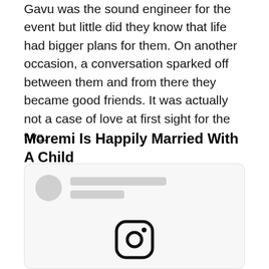Gavu was the sound engineer for the event but little did they know that life had bigger plans for them. On another occasion, a conversation sparked off between them and from there they became good friends. It was actually not a case of love at first sight for the two.
Moremi Is Happily Married With A Child
[Figure (screenshot): A social media card with a blurred/placeholder avatar circle on the left, two grey placeholder lines for username and handle, and a large grey content area. An Instagram icon appears at the bottom center of the card.]